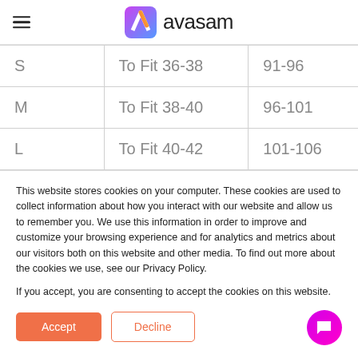avasam
| S | To Fit 36-38 | 91-96 |
| M | To Fit 38-40 | 96-101 |
| L | To Fit 40-42 | 101-106 |
This website stores cookies on your computer. These cookies are used to collect information about how you interact with our website and allow us to remember you. We use this information in order to improve and customize your browsing experience and for analytics and metrics about our visitors both on this website and other media. To find out more about the cookies we use, see our Privacy Policy.
If you accept, you are consenting to accept the cookies on this website.